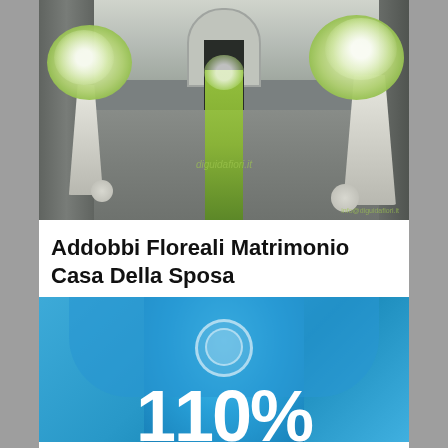[Figure (photo): Wedding floral decorations at the entrance of a building. Green carpet runner with white flower arrangements in tall white vases on both sides. Arched corridor visible in the background. Watermark 'diguidafiori.it' visible on the image.]
Addobbi Floreali Matrimonio Casa Della Sposa
[Figure (photo): Partial image showing a person in a teal/blue outfit with a badge or emblem, and large white text '110%' partially visible at the bottom.]